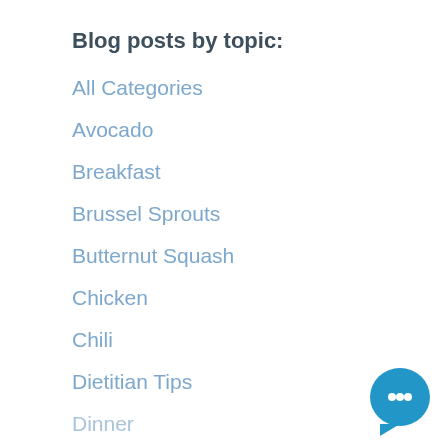Blog posts by topic:
All Categories
Avocado
Breakfast
Brussel Sprouts
Butternut Squash
Chicken
Chili
Dietitian Tips
Dinner
[Figure (illustration): Blue chat bubble icon in bottom right corner]